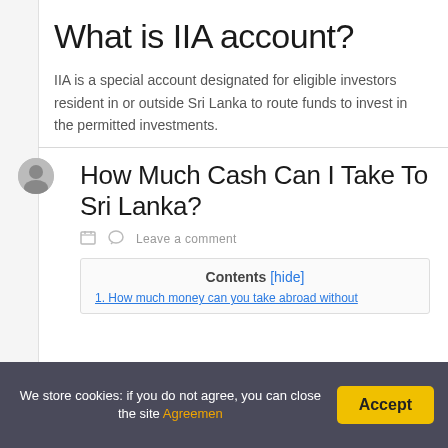What is IIA account?
IIA is a special account designated for eligible investors resident in or outside Sri Lanka to route funds to invest in the permitted investments.
How Much Cash Can I Take To Sri Lanka?
Leave a comment
Contents [hide]
1. How much money can you take abroad without...
We store cookies: if you do not agree, you can close the site Agreemen